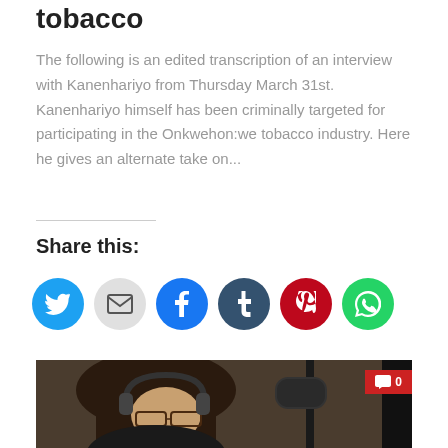tobacco
The following is an edited transcription of an interview with Kanenhariyo from Thursday March 31st. Kanenhariyo himself has been criminally targeted for participating in the Onkwehon:we tobacco industry. Here he gives an alternate take on...
Share this:
[Figure (infographic): Social share buttons: Twitter (blue), Email (gray), Facebook (blue), Tumblr (dark navy), Pinterest (red), WhatsApp (green)]
[Figure (photo): Close-up photo of a person wearing headphones and glasses, likely in a radio studio with a microphone visible. A red comment badge showing '0' is overlaid in the top-right corner.]